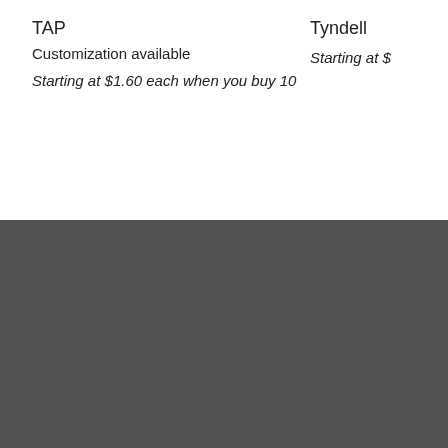TAP
Customization available
Starting at $1.60 each when you buy 10
Tyndell
Starting at $
Sign up to receive our product promotions and discounts!
Information
About Us
Savings & Discounts
Clearance Center